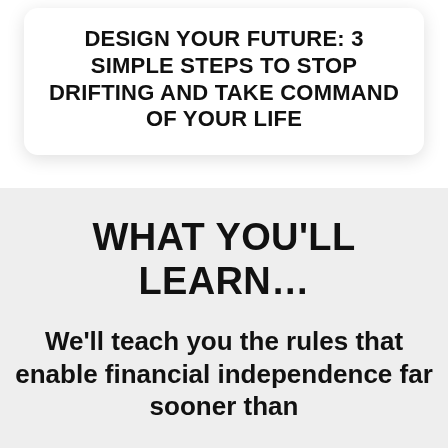DESIGN YOUR FUTURE: 3 SIMPLE STEPS TO STOP DRIFTING AND TAKE COMMAND OF YOUR LIFE
WHAT YOU'LL LEARN...
We'll teach you the rules that enable financial independence far sooner than